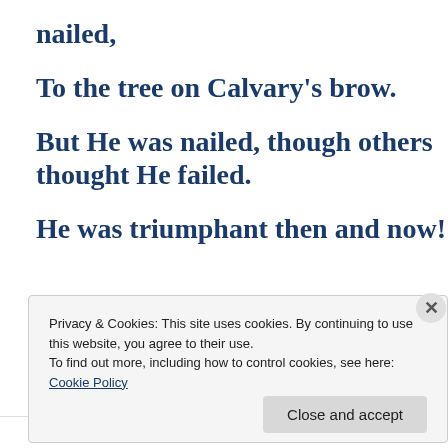nailed,
To the tree on Calvary's brow.
But He was nailed, though others thought He failed.
He was triumphant then and now!
Privacy & Cookies: This site uses cookies. By continuing to use this website, you agree to their use.
To find out more, including how to control cookies, see here: Cookie Policy
Close and accept
Follow ...